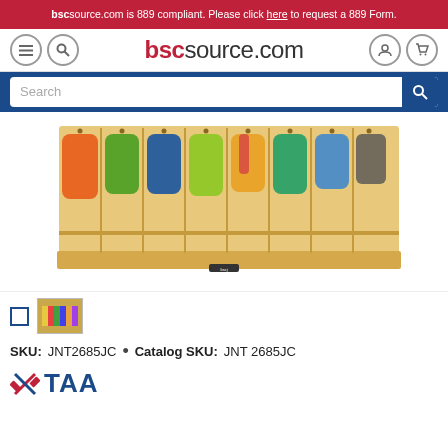bscsource.com is 889 compliant. Please click here to request a 889 Form.
[Figure (screenshot): BSC Source website navigation header with hamburger menu, search icon, bscsource.com logo in red, user icon and cart icon]
[Figure (screenshot): Blue search bar with Search placeholder text and magnifying glass button]
[Figure (photo): Wooden classroom locker/cubby unit with 8 sections, children's colorful coats hanging inside on hooks, natural maple finish]
[Figure (photo): Small thumbnail image of pencils/school supplies]
SKU: JNT2685JC  •  Catalog SKU: JNT 2685JC
[Figure (logo): TAA compliant logo with crossed wrench and screwdriver icon and blue TAA text]